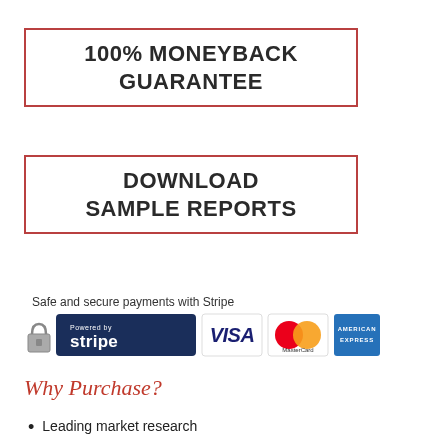100% MONEYBACK GUARANTEE
DOWNLOAD SAMPLE REPORTS
Safe and secure payments with Stripe
[Figure (logo): Payment logos: Stripe, Visa, MasterCard, American Express]
Why Purchase?
Leading market research